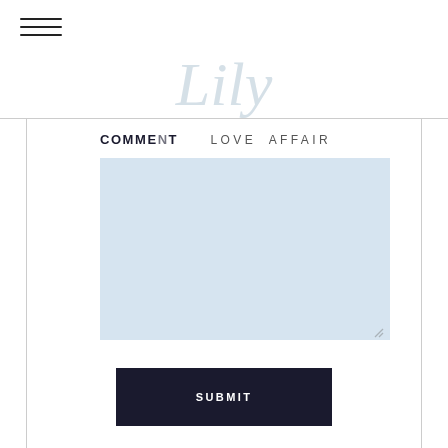[Figure (logo): Hamburger menu icon (three horizontal lines) in top left]
[Figure (logo): Lily Love Affair cursive script logo in light gray/white, centered at top]
COMMENT  LOVE AFFAIR
[Figure (screenshot): Blue-gray textarea comment input box with resize handle]
[Figure (other): SUBMIT button, dark navy background with white uppercase text]